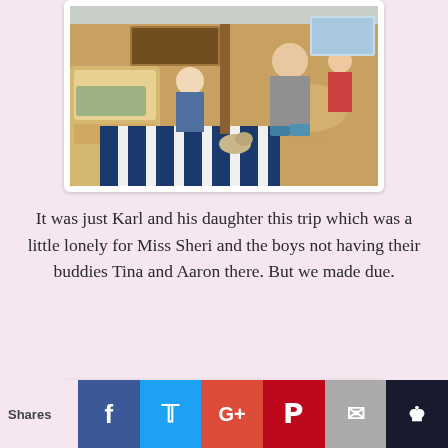[Figure (photo): Interior of a boat cabin with a blue and white striped rug, wood paneling, a boy in a gray t-shirt and patterned shorts, and another person seated in the background at a table.]
It was just Karl and his daughter this trip which was a little lonely for Miss Sheri and the boys not having their buddies Tina and Aaron there.  But we made due.
[Figure (photo): Partial view of a cloudy blue sky photo, cropped at the bottom of the page.]
Shares | Facebook | Twitter | Google+ | Pinterest | Email | Crown